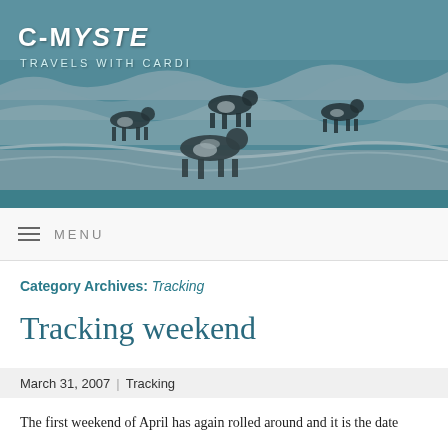[Figure (photo): Header photo of border collie dogs running and playing in ocean waves on a beach, with teal-tinted overlay]
C-MYSTE
TRAVELS WITH CARDI
MENU
Category Archives: Tracking
Tracking weekend
March 31, 2007 | Tracking
The first weekend of April has again rolled around and it is the date